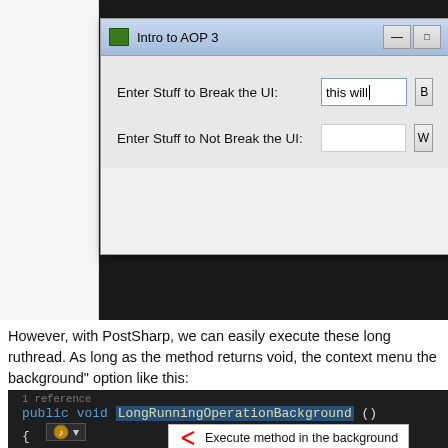[Figure (screenshot): Windows application dialog titled 'Intro to AOP 3' with two input fields: 'Enter Stuff to Break the UI:' containing 'this will' and 'Enter Stuff to Not Break the UI:' which is empty, each with a button to the right.]
However, with PostSharp, we can easily execute these long running operations on a background thread. As long as the method returns void, the context menu will show an "Execute in the background" option like this:
[Figure (screenshot): Visual Studio code editor showing: '1 reference', 'public void LongRunningOperationBackground()' with the method name highlighted, opening brace, 'Thread.S...' line, 'return;' line, and a context menu popup showing 'Execute method in the background']